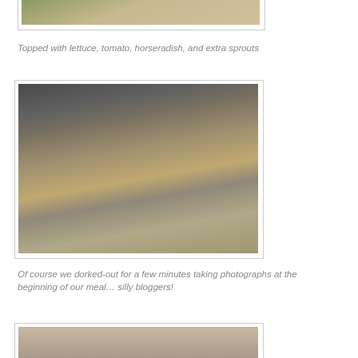[Figure (photo): Close-up photo of a burger with lettuce on a white plate]
Topped with lettuce, tomato, horseradish, and extra sprouts
[Figure (photo): Man holding phone at a table with a large veggie burger on a plate in the foreground]
Of course we dorked-out for a few minutes taking photographs at the beginning of our meal… silly bloggers!
[Figure (photo): Woman with brown hair looking at camera, partial view]